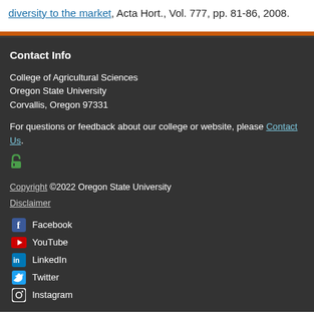diversity to the market, Acta Hort., Vol. 777, pp. 81-86, 2008.
Contact Info
College of Agricultural Sciences
Oregon State University
Corvallis, Oregon 97331
For questions or feedback about our college or website, please Contact Us.
Copyright ©2022 Oregon State University
Disclaimer
Facebook
YouTube
LinkedIn
Twitter
Instagram